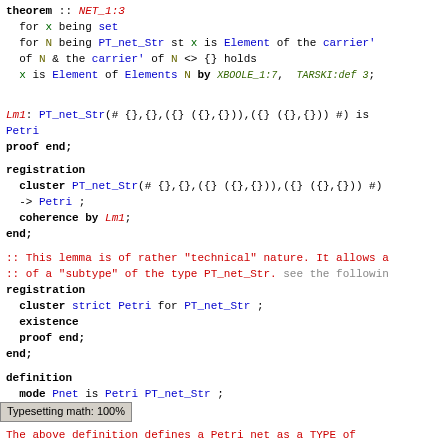theorem :: NET_1:3
  for x being set
  for N being PT_net_Str st x is Element of the carrier'
  of N & the carrier' of N <> {} holds
  x is Element of Elements N by XBOOLE_1:7, TARSKI:def 3;
Lm1: PT_net_Str(# {},{},({} ({},{})),({} ({},{})) #) is
Petri
proof end;
registration
  cluster PT_net_Str(# {},{},({} ({},{})),({} ({},{})) #)
  -> Petri ;
  coherence by Lm1;
end;
:: This lemma is of rather "technical" nature. It allows a
:: of a "subtype" of the type PT_net_Str. see the followin
registration
  cluster strict Petri for PT_net_Str ;
  existence
  proof end;
end;
definition
  mode Pnet is Petri PT_net_Str ;
end;
Typesetting math: 100%
The above definition defines a Petri net as a TYPE of